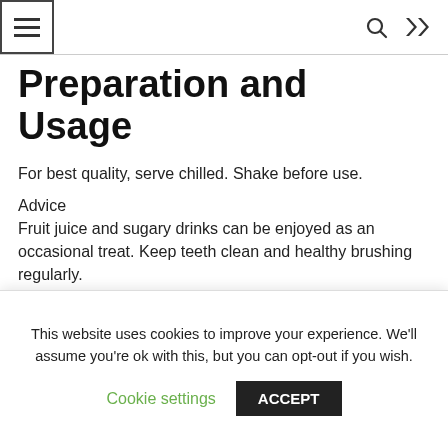≡  🔍  ⇌
Preparation and Usage
For best quality, serve chilled. Shake before use.
Advice
Fruit juice and sugary drinks can be enjoyed as an occasional treat. Keep teeth clean and healthy brushing regularly.
Storage
For Best Before End Date See Top of Pack…
This website uses cookies to improve your experience. We'll assume you're ok with this, but you can opt-out if you wish.
Cookie settings   ACCEPT